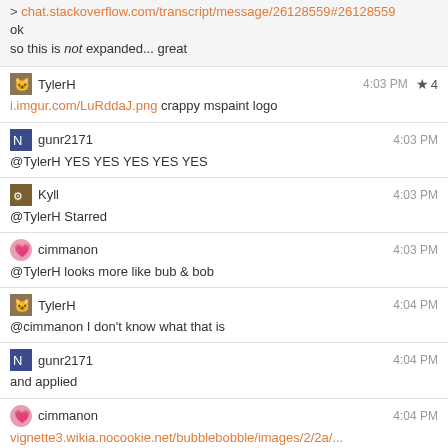> chat.stackoverflow.com/transcript/message/26128559#26128559
ok
so this is not expanded... great
TylerH 4:03 PM
i.imgur.com/LuRddaJ.png crappy mspaint logo ★4
gunr2171 4:03 PM
@TylerH YES YES YES YES YES
Kyll 4:03 PM
@TylerH Starred
cimmanon 4:03 PM
@TylerH looks more like bub & bob
TylerH 4:04 PM
@cimmanon I don't know what that is
gunr2171 4:04 PM
and applied
cimmanon 4:04 PM
vignette3.wikia.nocookie.net/bubblebobble/images/2/2a/...
gunr2171 4:04 PM
invitation sent to @Siguza